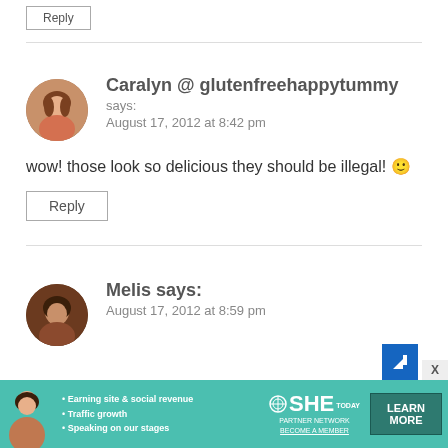Reply (button, top, partially visible)
Caralyn @ glutenfreehappytummy says: August 17, 2012 at 8:42 pm
wow! those look so delicious they should be illegal! 🙂
Reply
Melis says: August 17, 2012 at 8:59 pm
[Figure (infographic): SHE Partner Network advertisement banner with photo, bullet points, logo and Learn More button]